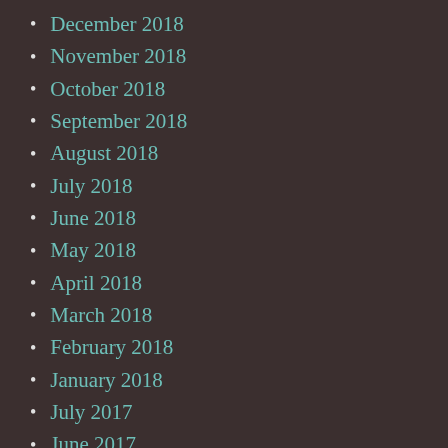December 2018
November 2018
October 2018
September 2018
August 2018
July 2018
June 2018
May 2018
April 2018
March 2018
February 2018
January 2018
July 2017
June 2017
May 2017
April 2017
January 2017
December 2016
November 2016